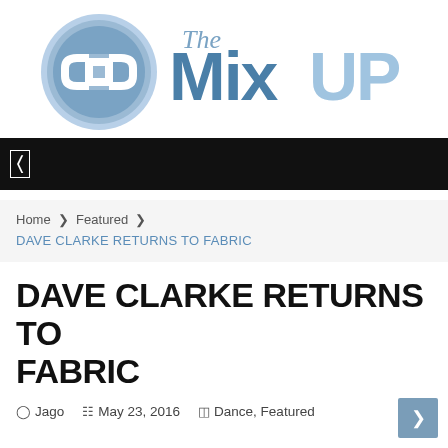[Figure (logo): The MixUP logo — circular chain-link icon on the left in blue/white, with 'The' in italic script above 'MixUP' in bold blue sans-serif text]
[Figure (screenshot): Black navigation bar with a white menu/hamburger icon on the left]
Home  ❯  Featured  ❯
DAVE CLARKE RETURNS TO FABRIC
DAVE CLARKE RETURNS TO FABRIC
Jago   May 23, 2016   Dance, Featured